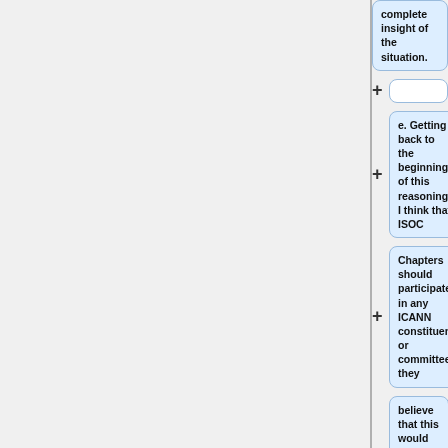complete insight of the situation.
e. Getting back to the beginning of this reasoning, I think that ISOC
Chapters should participate in any ICANN constituency or committee if they
believe that this would be a good way to fulfill ISOC mission and promote
our core values. The real questions here are not related to ICANN but to